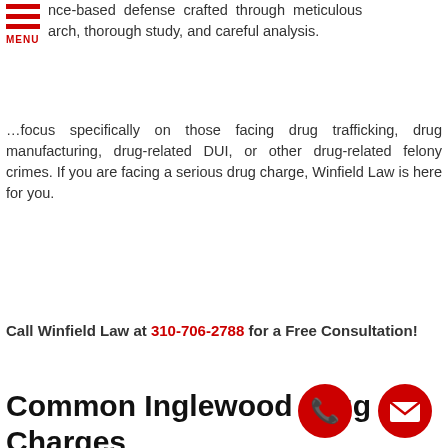[Figure (other): Red hamburger menu icon with three horizontal bars and MENU label]
nce-based defense crafted through meticulous arch, thorough study, and careful analysis.
...focus specifically on those facing drug trafficking, drug manufacturing, drug-related DUI, or other drug-related felony crimes. If you are facing a serious drug charge, Winfield Law is here for you.
Call Winfield Law at 310-706-2788 for a Free Consultation!
Common Inglewood Drug Charges
[Figure (other): Red circular phone call button icon]
[Figure (other): Red circular email/envelope button icon]